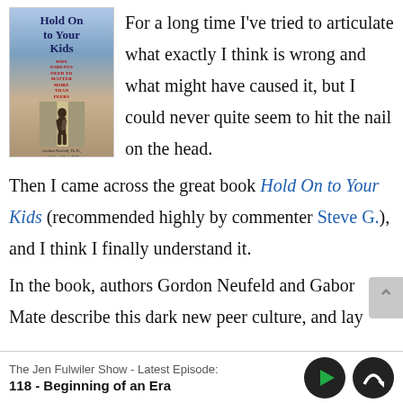[Figure (illustration): Book cover of 'Hold On to Your Kids: Why Parents Need to Matter More Than Peers' by Gordon Neufeld, Ph.D. and Gabor Maté, M.D. Cover shows a figure walking.]
For a long time I've tried to articulate what exactly I think is wrong and what might have caused it, but I could never quite seem to hit the nail on the head.
Then I came across the great book Hold On to Your Kids (recommended highly by commenter Steve G.), and I think I finally understand it.
In the book, authors Gordon Neufeld and Gabor Mate describe this dark new peer culture, and lay
The Jen Fulwiler Show - Latest Episode:
118 - Beginning of an Era